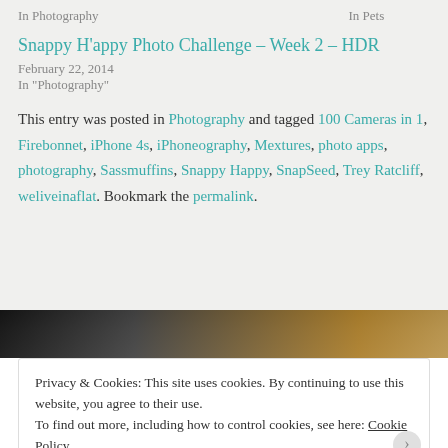In Photography    In Pets
Snappy H'appy Photo Challenge – Week 2 – HDR
February 22, 2014
In "Photography"
This entry was posted in Photography and tagged 100 Cameras in 1, Firebonnet, iPhone 4s, iPhoneography, Mextures, photo apps, photography, Sassmuffins, Snappy Happy, SnapSeed, Trey Ratcliff, weliveinaflat. Bookmark the permalink.
[Figure (photo): Dark horizontal photo strip showing animal fur/hair in black and golden tones]
Privacy & Cookies: This site uses cookies. By continuing to use this website, you agree to their use.
To find out more, including how to control cookies, see here: Cookie Policy
Close and accept